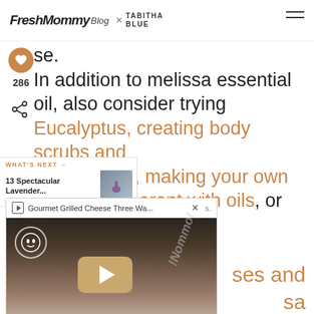Fresh Mommy Blog x TABITHA BLUE
se. In addition to melissa essential oil, also consider trying Eucalyptus, creating body scrubs and for romance, making your own natural deodorant with oils, or check out how to s.
WHAT'S NEXT → 13 Spectacular Lavender...
Gourmet Grilled Cheese Three Wa...
ses and sa life